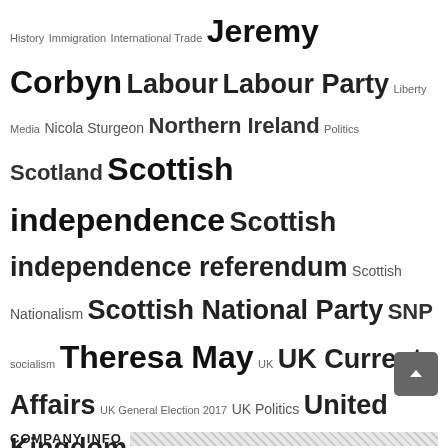History Immigration International Trade Jeremy Corbyn Labour Labour Party Liberty Media Nicola Sturgeon Northern Ireland Politics Scotland Scottish independence Scottish independence referendum Scottish Nationalism Scottish National Party SNP socialism Theresa May UK UK Current Affairs UK General Election 2017 UK Politics United Kingdom
SOCIAL MEDIA
Twitter
Facebook
[Figure (infographic): Facebook icon circle with 1,947 Fans and Twitter icon circle with 2,557 Followers]
COMPANY INFO